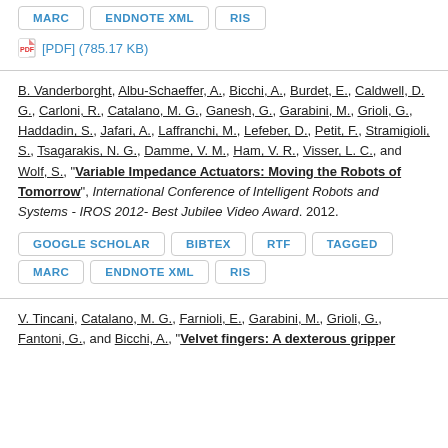MARC  ENDNOTE XML  RIS  [PDF] (785.17 KB)
B. Vanderborght, Albu-Schaeffer, A., Bicchi, A., Burdet, E., Caldwell, D. G., Carloni, R., Catalano, M. G., Ganesh, G., Garabini, M., Grioli, G., Haddadin, S., Jafari, A., Laffranchi, M., Lefeber, D., Petit, F., Stramigioli, S., Tsagarakis, N. G., Damme, V. M., Ham, V. R., Visser, L. C., and Wolf, S., "Variable Impedance Actuators: Moving the Robots of Tomorrow", International Conference of Intelligent Robots and Systems - IROS 2012- Best Jubilee Video Award. 2012.
GOOGLE SCHOLAR  BIBTEX  RTF  TAGGED  MARC  ENDNOTE XML  RIS
V. Tincani, Catalano, M. G., Farnioli, E., Garabini, M., Grioli, G., Fantoni, G., and Bicchi, A., "Velvet fingers: A dexterous gripper..."